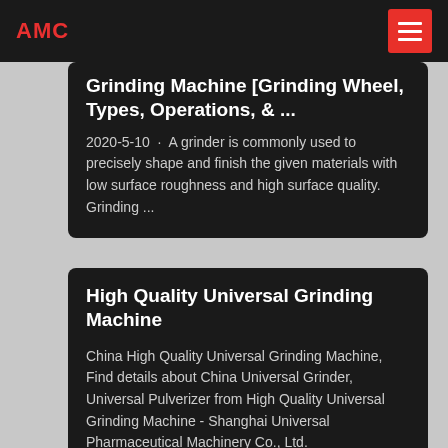AMC
Grinding Machine [Grinding Wheel, Types, Operations, & ...
2020-5-10 · A grinder is commonly used to precisely shape and finish the given materials with low surface roughness and high surface quality. Grinding ...
High Quality Universal Grinding Machine
China High Quality Universal Grinding Machine, Find details about China Universal Grinder, Universal Pulverizer from High Quality Universal Grinding Machine - Shanghai Universal Pharmaceutical Machinery Co., Ltd.